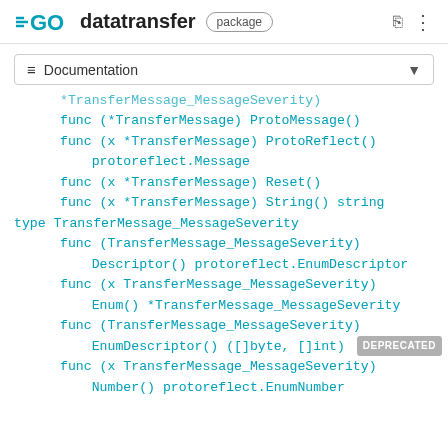GO datatransfer package
Documentation
*TransferMessage_MessageSeverity (clipped)
func (*TransferMessage) ProtoMessage()
func (x *TransferMessage) ProtoReflect() protoreflect.Message
func (x *TransferMessage) Reset()
func (x *TransferMessage) String() string
type TransferMessage_MessageSeverity
func (TransferMessage_MessageSeverity) Descriptor() protoreflect.EnumDescriptor
func (x TransferMessage_MessageSeverity) Enum() *TransferMessage_MessageSeverity
func (TransferMessage_MessageSeverity) EnumDescriptor() ([]byte, []int) DEPRECATED
func (x TransferMessage_MessageSeverity) Number() protoreflect.EnumNumber